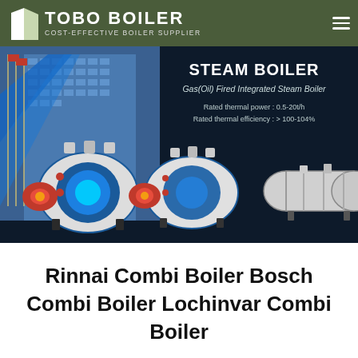TOBO BOILER — COST-EFFECTIVE BOILER SUPPLIER
[Figure (screenshot): Banner showing STEAM BOILER product: Gas(Oil) Fired Integrated Steam Boiler. Rated thermal power: 0.5-20t/h. Rated thermal efficiency: > 100-104%. Shows industrial building on left and three industrial boiler units on dark background.]
Rinnai Combi Boiler Bosch Combi Boiler Lochinvar Combi Boiler